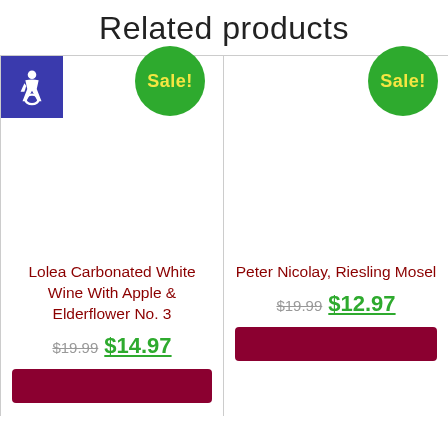Related products
[Figure (screenshot): Product card for Lolea Carbonated White Wine With Apple & Elderflower No. 3 with Sale badge and accessibility icon, showing original price $19.99 and sale price $14.97]
[Figure (screenshot): Product card for Peter Nicolay, Riesling Mosel with Sale badge, showing original price $19.99 and sale price $12.97]